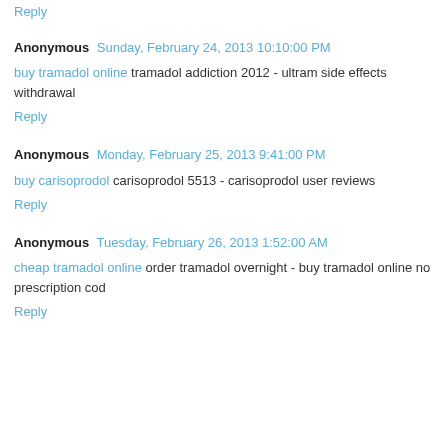Reply
Anonymous  Sunday, February 24, 2013 10:10:00 PM
buy tramadol online tramadol addiction 2012 - ultram side effects withdrawal
Reply
Anonymous  Monday, February 25, 2013 9:41:00 PM
buy carisoprodol carisoprodol 5513 - carisoprodol user reviews
Reply
Anonymous  Tuesday, February 26, 2013 1:52:00 AM
cheap tramadol online order tramadol overnight - buy tramadol online no prescription cod
Reply